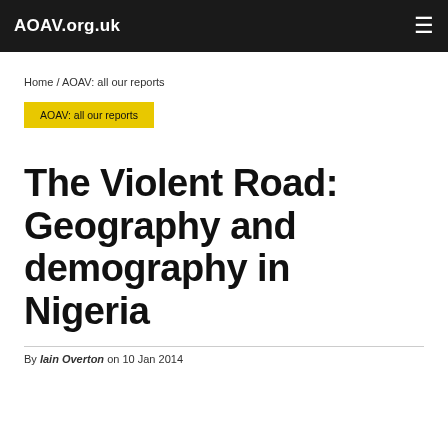AOAV.org.uk
Home / AOAV: all our reports
AOAV: all our reports
The Violent Road: Geography and demography in Nigeria
By Iain Overton on 10 Jan 2014